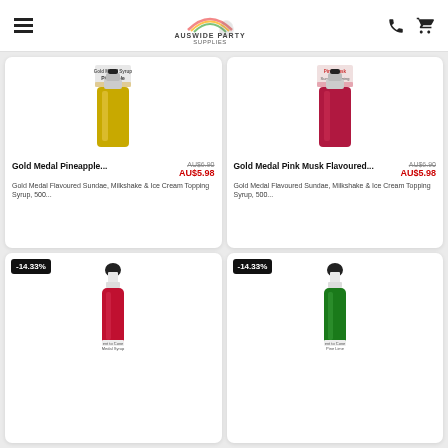Auswide Party Supplies
[Figure (photo): Gold Medal Pineapple flavoured sundae syrup bottle, yellow liquid in clear bottle]
Gold Medal Pineapple... AU$6.90 AU$5.98
Gold Medal Flavoured Sundae, Milkshake & Ice Cream Topping Syrup, 500...
[Figure (photo): Gold Medal Pink Musk flavoured sundae syrup bottle, red/pink liquid in clear bottle]
Gold Medal Pink Musk Flavoured... AU$6.90 AU$5.98
Gold Medal Flavoured Sundae, Milkshake & Ice Cream Topping Syrup, 500...
[Figure (photo): Red syrup bottle with black cap, -14.33% discount badge]
[Figure (photo): Green syrup bottle with black cap, -14.33% discount badge]